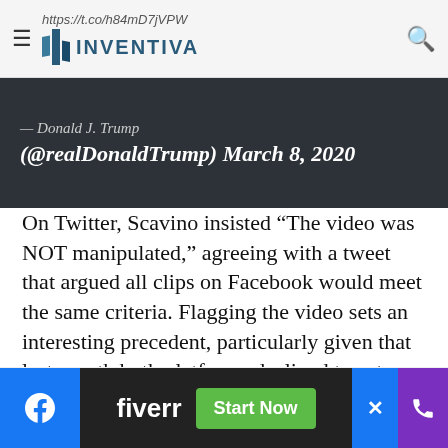https://t.co/h84mD7jVPW — INVENTIVA
[Figure (screenshot): Dark tweet embed block showing attribution '— Donald J. Trump (@realDonaldTrump) March 8, 2020' on dark background]
On Twitter, Scavino insisted “The video was NOT manipulated,” agreeing with a tweet that argued all clips on Facebook would meet the same criteria. Flagging the video sets an interesting precedent, particularly given that last month both platforms declined to act on a deceptively edited video depicting Speaker of the House Nancy Pelosi rippin
[Figure (screenshot): Bottom advertisement bar with Facebook button, Fiverr ad with 'Start Now' button, close button, and phone button]